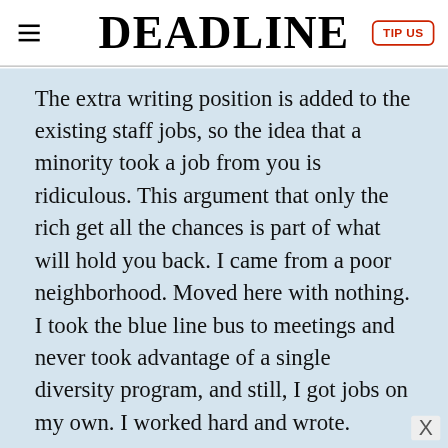DEADLINE
The extra writing position is added to the existing staff jobs, so the idea that a minority took a job from you is ridiculous. This argument that only the rich get all the chances is part of what will hold you back. I came from a poor neighborhood. Moved here with nothing. I took the blue line bus to meetings and never took advantage of a single diversity program, and still, I got jobs on my own. I worked hard and wrote.
There’s no secret to this business. If the first script doesn’t work, then you go back and work on the next one and don’t blame your failures on other people. You will always have an excuse why the person next to you made it and you didn’t. They had an agent. They know
[Figure (logo): HC logo in yellow square and blue diamond with right-arrow, part of an advertisement banner at the bottom of the page]